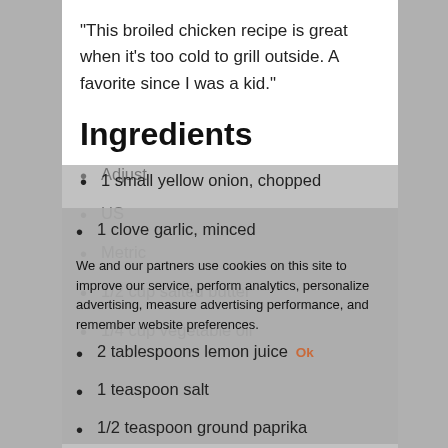"This broiled chicken recipe is great when it's too cold to grill outside. A favorite since I was a kid."
Ingredients
Adjust
US
Metric
1/2 cup salted butter
1/4 cup vegetable oil
1 small yellow onion, chopped
1 clove garlic, minced
2 tablespoons lemon juice
1 teaspoon salt
1/2 teaspoon ground paprika
We and our partners use cookies on this site to improve our service, perform analytics, personalize advertising, measure advertising performance, and remember website preferences.